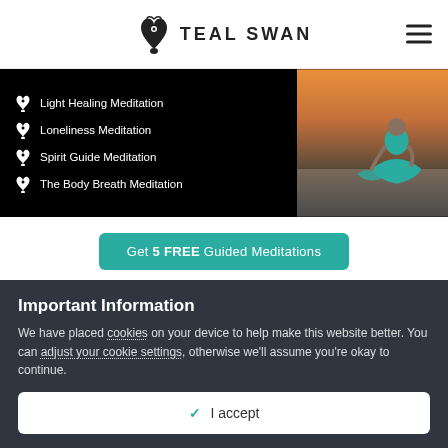TEAL SWAN
[Figure (illustration): Banner with black background showing meditation items list on left and a woman in teal dress sitting in meditation pose on right with sunset background]
Light Healing Meditation
Loneliness Meditation
Spirit Guide Meditation
The Body Breath Meditation
Get 5 FREE Guided Meditations
Report Blog
Go to blogs
Important Information
We have placed cookies on your device to help make this website better. You can adjust your cookie settings, otherwise we'll assume you're okay to continue.
✓ I accept